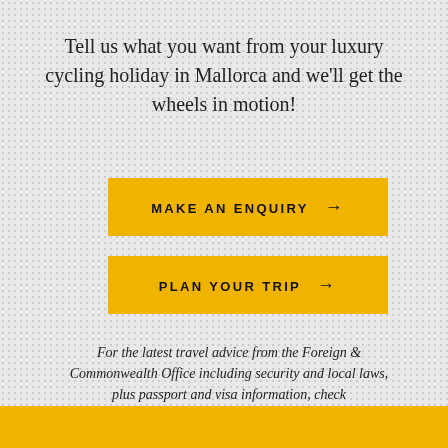Tell us what you want from your luxury cycling holiday in Mallorca and we'll get the wheels in motion!
[Figure (other): Yellow button with text MAKE AN ENQUIRY and arrow]
[Figure (other): Yellow button with text PLAN YOUR TRIP and arrow]
For the latest travel advice from the Foreign & Commonwealth Office including security and local laws, plus passport and visa information, check www.gov.uk/foreign-travel-advice.